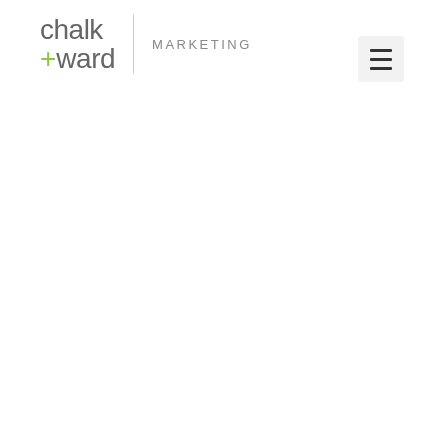[Figure (logo): Chalk + Ward Marketing company logo with text 'chalk +ward' in grey with a green plus sign, a vertical divider line, and the word MARKETING in grey uppercase spaced letters]
[Figure (other): Hamburger menu icon with three horizontal lines on a light grey square background]